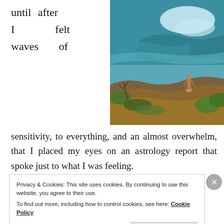until after I felt waves of
[Figure (photo): A person standing on a rocky cliff overlooking turquoise ocean waves crashing below, with green vegetation in the foreground.]
sensitivity, to everything, and an almost overwhelm, that I placed my eyes on an astrology report that spoke just to what I was feeling.
Privacy & Cookies: This site uses cookies. By continuing to use this website, you agree to their use. To find out more, including how to control cookies, see here: Cookie Policy
Close and accept